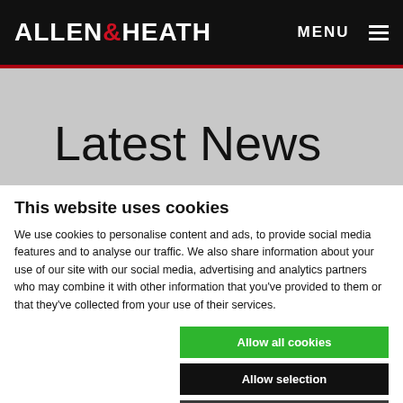ALLEN & HEATH   MENU
Latest News
This website uses cookies
We use cookies to personalise content and ads, to provide social media features and to analyse our traffic. We also share information about your use of our site with our social media, advertising and analytics partners who may combine it with other information that you've provided to them or that they've collected from your use of their services.
Allow all cookies
Allow selection
Use necessary cookies only
Required   Functional   Analytics   Advertising   Show details